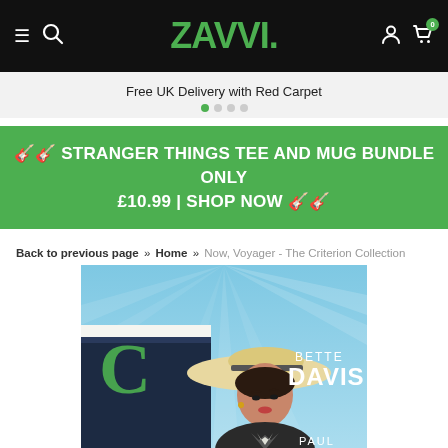ZAVVI. [hamburger] [search] [user] [cart: 0]
Free UK Delivery with Red Carpet
🎸🎸 STRANGER THINGS TEE AND MUG BUNDLE ONLY £10.99 | SHOP NOW 🎸🎸
Back to previous page » Home » Now, Voyager - The Criterion Collection
[Figure (photo): Movie poster for 'Now, Voyager - The Criterion Collection' showing a woman in a wide-brimmed hat with text 'BETTE DAVIS' and 'PAUL HENREID' overlaid, with a Criterion 'C' logo and ship/ocean liner imagery in the background.]